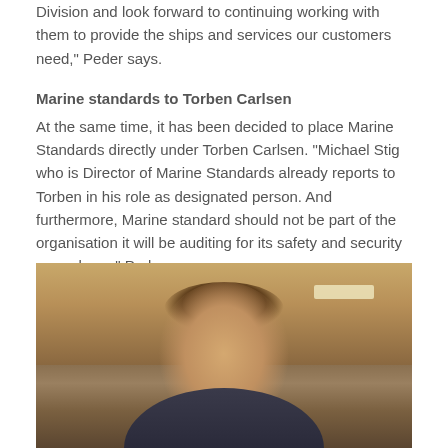Division and look forward to continuing working with them to provide the ships and services our customers need," Peder says.
Marine standards to Torben Carlsen
At the same time, it has been decided to place Marine Standards directly under Torben Carlsen. "Michael Stig who is Director of Marine Standards already reports to Torben in his role as designated person. And furthermore, Marine standard should not be part of the organisation it will be auditing for its safety and security procedures," Peder says.
[Figure (photo): Portrait photo of a man with short hair, photographed indoors with a light fixture visible in the background. The image is cropped at the bottom of the page.]